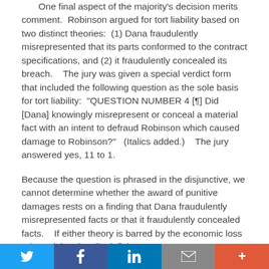One final aspect of the majority's decision merits comment. Robinson argued for tort liability based on two distinct theories: (1) Dana fraudulently misrepresented that its parts conformed to the contract specifications, and (2) it fraudulently concealed its breach. The jury was given a special verdict form that included the following question as the sole basis for tort liability: “QUESTION NUMBER 4 [¶] Did [Dana] knowingly misrepresent or conceal a material fact with an intent to defraud Robinson which caused damage to Robinson?” (Italics added.) The jury answered yes, 11 to 1.
Because the question is phrased in the disjunctive, we cannot determine whether the award of punitive damages rests on a finding that Dana fraudulently misrepresented facts or that it fraudulently concealed facts. If either theory is barred by the economic loss rule and thus legally deficient,
Twitter | Facebook | LinkedIn | Email | More